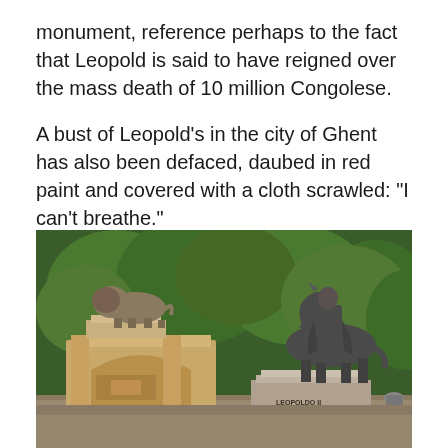monument, reference perhaps to the fact that Leopold is said to have reigned over the mass death of 10 million Congolese.
A bust of Leopold's in the city of Ghent has also been defaced, daubed in red paint and covered with a cloth scrawled: "I can't breathe."
[Figure (photo): Photograph of an equestrian statue of Leopold II on a stone pedestal with 'LEOPOLDO II' inscribed, next to a decorative stone gateway topped with a lion sculpture, set against a background of lush green trees.]